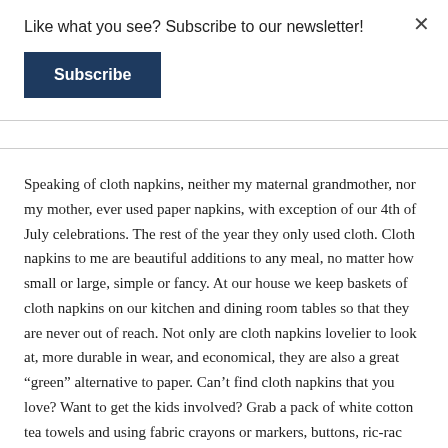Like what you see? Subscribe to our newsletter!
Subscribe
Speaking of cloth napkins, neither my maternal grandmother, nor my mother, ever used paper napkins, with exception of our 4th of July celebrations. The rest of the year they only used cloth. Cloth napkins to me are beautiful additions to any meal, no matter how small or large, simple or fancy. At our house we keep baskets of cloth napkins on our kitchen and dining room tables so that they are never out of reach. Not only are cloth napkins lovelier to look at, more durable in wear, and economical, they are also a great “green” alternative to paper. Can’t find cloth napkins that you love? Want to get the kids involved? Grab a pack of white cotton tea towels and using fabric crayons or markers, buttons, ric-rac embroidery thread or other colorful notions, and have